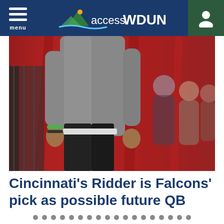menu | accessWDUN
[Figure (photo): A person standing indoors in a gray sweatshirt and black pants, with blurred people in the background against a red draped backdrop, likely at an NFL draft combine or workout event.]
Cincinnati's Ridder is Falcons' pick as possible future QB
The Atlanta Falcons picked Cincinnati's Desmond Ridder in the third round of the NFL draft, giving the team its possible future starting quarterback
12:03AM ( 2 days ago )